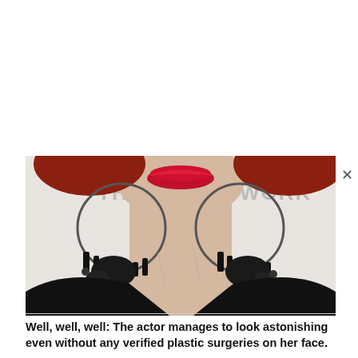[Figure (photo): Close-up photo of a woman's face/neck area. She has red lips, large circular hoop earrings with black crystal/bead dangles, and is wearing a black outfit. Her hair appears reddish. In the background is a white backdrop with partial text visible reading 'TH' and 'WORK'. A close button (×) appears in the upper right corner of the image frame.]
Well, well, well: The actor manages to look astonishing even without any verified plastic surgeries on her face.